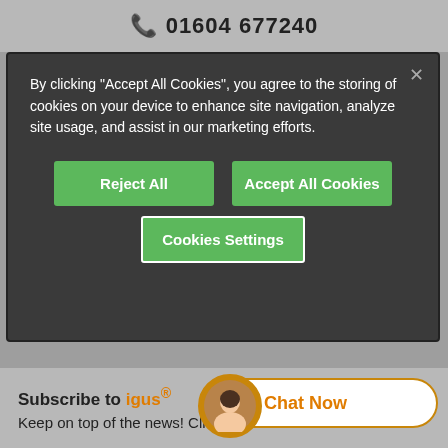01604 677240
By clicking "Accept All Cookies", you agree to the storing of cookies on your device to enhance site navigation, analyze site usage, and assist in our marketing efforts.
Reject All
Accept All Cookies
Cookies Settings
Online:
24h
Subscribe to igus®
Keep on top of the news! Click on the button
Chat Now